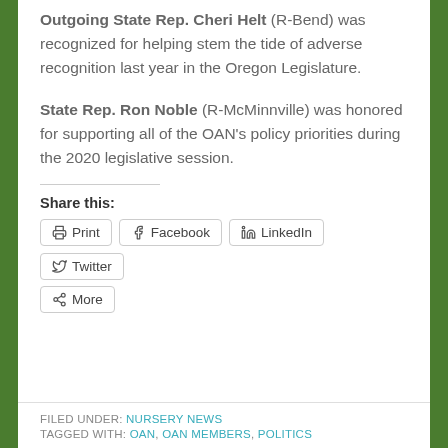Outgoing State Rep. Cheri Helt (R-Bend) was recognized for helping stem the tide of adverse recognition last year in the Oregon Legislature.
State Rep. Ron Noble (R-McMinnville) was honored for supporting all of the OAN's policy priorities during the 2020 legislative session.
Share this:
Print | Facebook | LinkedIn | Twitter | More
FILED UNDER: NURSERY NEWS | TAGGED WITH: OAN, OAN MEMBERS, POLITICS